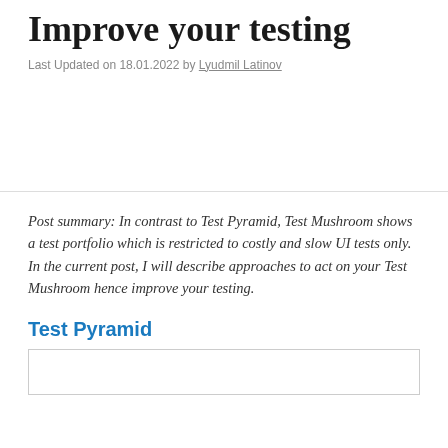Improve your testing
Last Updated on 18.01.2022 by Lyudmil Latinov
Post summary: In contrast to Test Pyramid, Test Mushroom shows a test portfolio which is restricted to costly and slow UI tests only. In the current post, I will describe approaches to act on your Test Mushroom hence improve your testing.
Test Pyramid
[Figure (other): Empty figure box placeholder for Test Pyramid diagram]